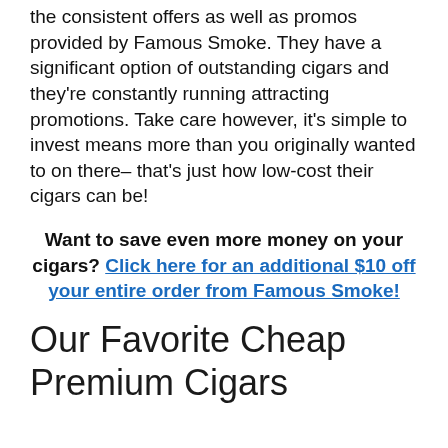the consistent offers as well as promos provided by Famous Smoke. They have a significant option of outstanding cigars and they're constantly running attracting promotions. Take care however, it's simple to invest means more than you originally wanted to on there– that's just how low-cost their cigars can be!
Want to save even more money on your cigars? Click here for an additional $10 off your entire order from Famous Smoke!
Our Favorite Cheap Premium Cigars